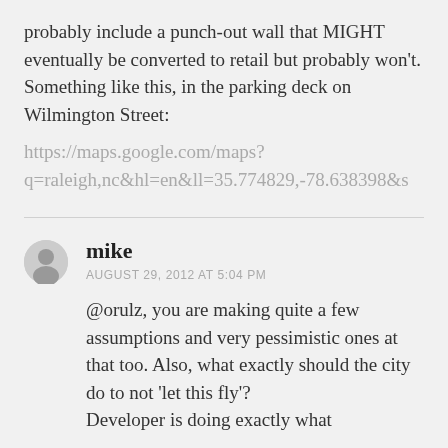probably include a punch-out wall that MIGHT eventually be converted to retail but probably won't. Something like this, in the parking deck on Wilmington Street:
https://maps.google.com/maps?q=raleigh,nc&hl=en&ll=35.774829,-78.638398&s
mike
AUGUST 29, 2012 AT 5:04 PM
@orulz, you are making quite a few assumptions and very pessimistic ones at that too. Also, what exactly should the city do to not 'let this fly'? Developer is doing exactly what